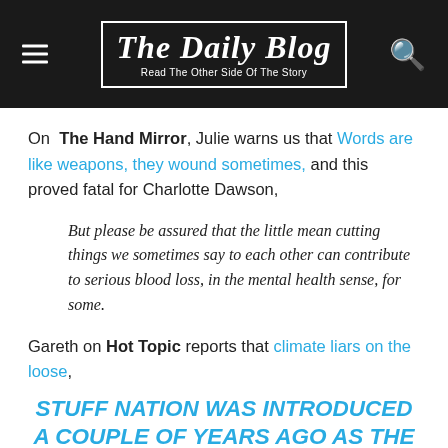The Daily Blog — Read The Other Side Of The Story
On The Hand Mirror, Julie warns us that Words are like weapons, they wound sometimes, and this proved fatal for Charlotte Dawson,
But please be assured that the little mean cutting things we sometimes say to each other can contribute to serious blood loss, in the mental health sense, for some.
Gareth on Hot Topic reports that climate liars on the loose,
STUFF NATION WAS INTRODUCED A COUPLE OF YEARS AGO AS THE READER-LED SECTION OF FAIRFAX DIGITAL'S NZ NEWS SITE